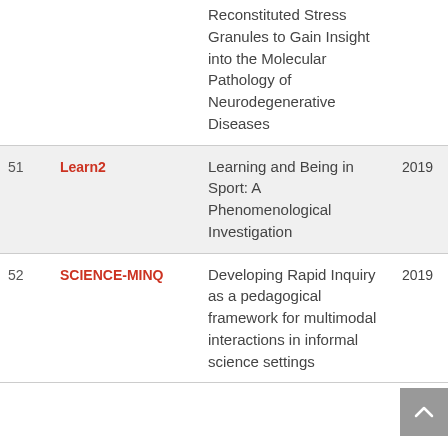| # | Name | Title | Year |
| --- | --- | --- | --- |
|  |  | Reconstituted Stress Granules to Gain Insight into the Molecular Pathology of Neurodegenerative Diseases |  |
| 51 | Learn2 | Learning and Being in Sport: A Phenomenological Investigation | 2019 |
| 52 | SCIENCE-MINQ | Developing Rapid Inquiry as a pedagogical framework for multimodal interactions in informal science settings | 2019 |